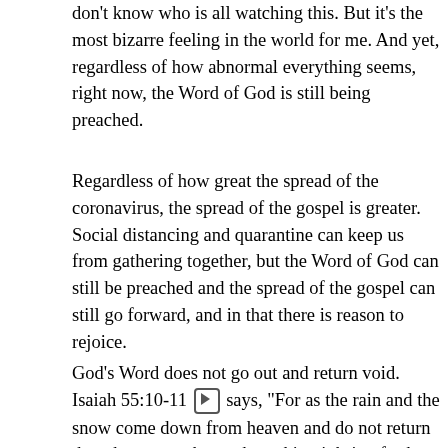don't know who is all watching this. But it's the most bizarre feeling in the world for me. And yet, regardless of how abnormal everything seems, right now, the Word of God is still being preached.
Regardless of how great the spread of the coronavirus, the spread of the gospel is greater. Social distancing and quarantine can keep us from gathering together, but the Word of God can still be preached and the spread of the gospel can still go forward, and in that there is reason to rejoice.
God's Word does not go out and return void. Isaiah 55:10-11 [icon] says, "For as the rain and the snow come down from heaven and do not return there but water the earth, making it bring forth and sprout, giving seed to the sower and bread to the eater, so shall my word be that goes out from my mouth; it shall not return to me empty, but it shall accomplish that which I purpose, and shall